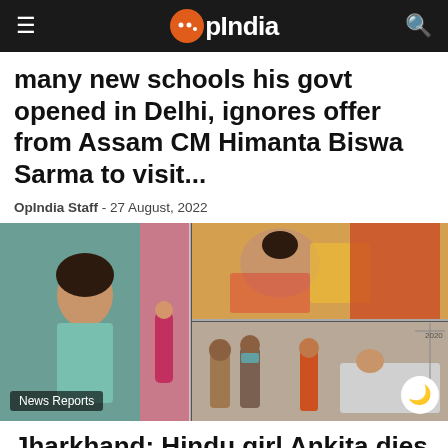OpIndia
many new schools his govt opened in Delhi, ignores offer from Assam CM Himanta Biswa Sarma to visit...
OpIndia Staff - 27 August, 2022
[Figure (photo): Collage of images: young woman in teal shirt with bindi (left), woman lying with flowers (top right), group of people standing near a hospital bed (bottom right). Badge: News Reports]
Jharkhand: Hindu girl Ankita dies after being set ablaze by neighbour Shahrukh